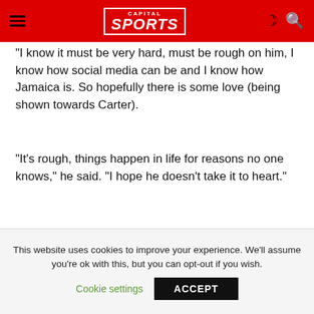Capital Sports
“I know it must be very hard, must be rough on him, I know how social media can be and I know how Jamaica is. So hopefully there is some love (being shown towards Carter).
“It’s rough, things happen in life for reasons no one knows,” he said. “I hope he doesn’t take it to heart.”
In this article:
This website uses cookies to improve your experience. We’ll assume you’re ok with this, but you can opt-out if you wish.
Cookie settings   ACCEPT